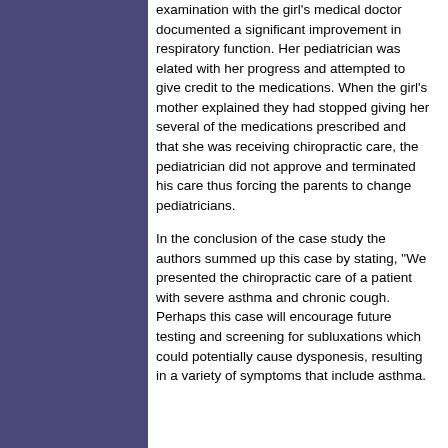examination with the girl's medical doctor documented a significant improvement in respiratory function. Her pediatrician was elated with her progress and attempted to give credit to the medications. When the girl's mother explained they had stopped giving her several of the medications prescribed and that she was receiving chiropractic care, the pediatrician did not approve and terminated his care thus forcing the parents to change pediatricians.
In the conclusion of the case study the authors summed up this case by stating, "We presented the chiropractic care of a patient with severe asthma and chronic cough. Perhaps this case will encourage future testing and screening for subluxations which could potentially cause dysponesis, resulting in a variety of symptoms that include asthma.